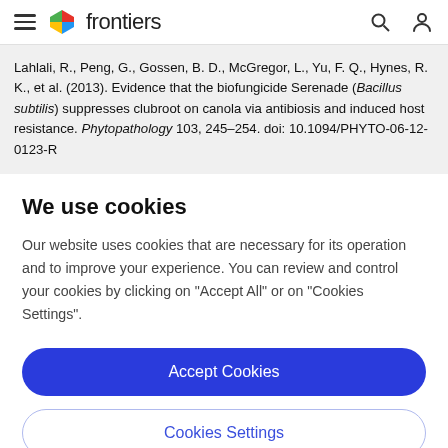frontiers
Lahlali, R., Peng, G., Gossen, B. D., McGregor, L., Yu, F. Q., Hynes, R. K., et al. (2013). Evidence that the biofungicide Serenade (Bacillus subtilis) suppresses clubroot on canola via antibiosis and induced host resistance. Phytopathology 103, 245–254. doi: 10.1094/PHYTO-06-12-0123-R
We use cookies
Our website uses cookies that are necessary for its operation and to improve your experience. You can review and control your cookies by clicking on "Accept All" or on "Cookies Settings".
Accept Cookies
Cookies Settings